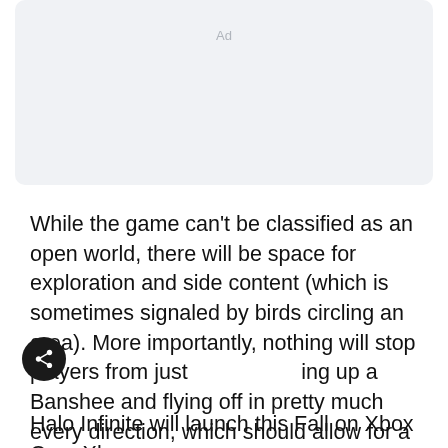[Figure (other): Advertisement placeholder box with light gray background and 'Ad' label centered near top]
While the game can't be classified as an open world, there will be space for exploration and side content (which is sometimes signaled by birds circling an area). More importantly, nothing will stop players from just going up a Banshee and flying off in pretty much every direction, which should allow for a completely free approach to combat situations.
Halo Infinite will launch this Fall on Xbox One, Xbox